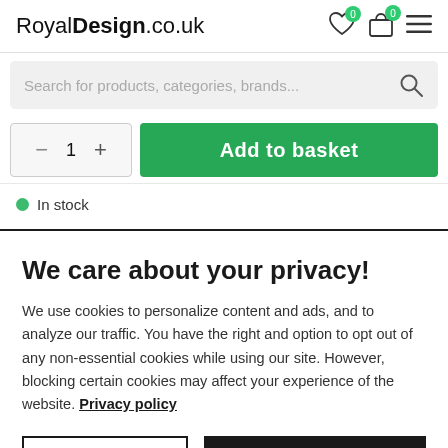RoyalDesign.co.uk
Search for products, categories, brands...
1  Add to basket
In stock
We care about your privacy!
We use cookies to personalize content and ads, and to analyze our traffic. You have the right and option to opt out of any non-essential cookies while using our site. However, blocking certain cookies may affect your experience of the website. Privacy policy
Cookie Settings
Accept All Cookies